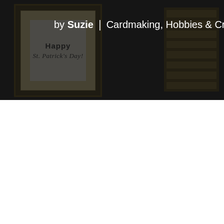[Figure (photo): Dark banner image showing handmade St. Patrick's Day cards with text overlay reading 'by Suzie | Cardmaking, Hobbies & Crafts'. Cards feature tan/gold borders with 'Happy St. Patrick's Day!' text visible.]
by Suzie | Cardmaking, Hobbies & Crafts